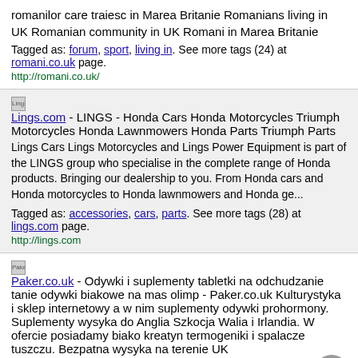romanilor care traiesc in Marea Britanie Romanians living in UK Romanian community in UK Romani in Marea Britanie
Tagged as: forum, sport, living in. See more tags (24) at romani.co.uk page.
http://romani.co.uk/
Lings.com - LINGS - Honda Cars Honda Motorcycles Triumph Motorcycles Honda Lawnmowers Honda Parts Triumph Parts
Lings Cars Lings Motorcycles and Lings Power Equipment is part of the LINGS group who specialise in the complete range of Honda products. Bringing our dealership to you. From Honda cars and Honda motorcycles to Honda lawnmowers and Honda ge...
Tagged as: accessories, cars, parts. See more tags (28) at lings.com page.
http://lings.com
Paker.co.uk - Odywki i suplementy tabletki na odchudzanie tanie odywki biakowe na mas olimp - Paker.co.uk Kulturystyka i sklep internetowy a w nim suplementy odywki prohormony. Suplementy wysyka do Anglia Szkocja Walia i Irlandia. W ofercie posiadamy biako kreatyn termogeniki i spalacze tuszczu. Bezpatna wysyka na terenie UK
Tagged as: sklep internetowy, surveysoftware, ezypoint. See more tags (9) at paker.co.uk page.
http://www.paker.co.uk/